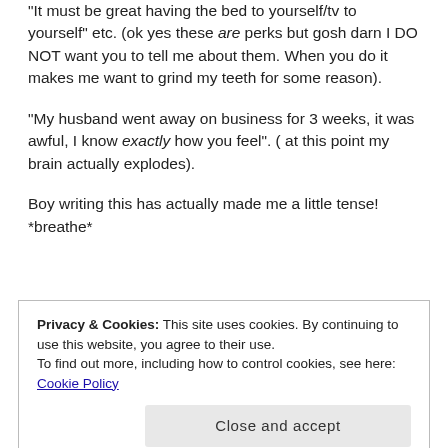“It must be great having the bed to yourself/tv to yourself” etc. (ok yes these are perks but gosh darn I DO NOT want you to tell me about them. When you do it makes me want to grind my teeth for some reason).
“My husband went away on business for 3 weeks, it was awful, I know exactly how you feel”. ( at this point my brain actually explodes).
Boy writing this has actually made me a little tense! *breathe*
Privacy & Cookies: This site uses cookies. By continuing to use this website, you agree to their use. To find out more, including how to control cookies, see here: Cookie Policy
Close and accept
something that you vaguely hope will work. Then